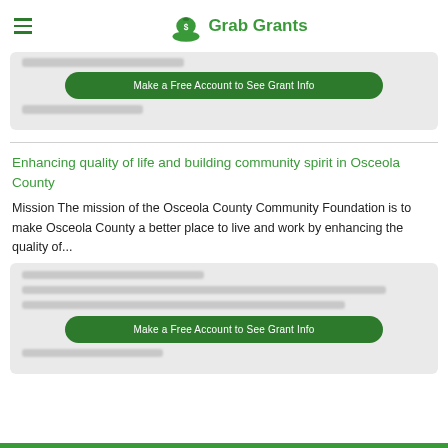Grab Grants
[Figure (screenshot): Blurred grant card with green 'Make a Free Account to See Grant Info' button]
Enhancing quality of life and building community spirit in Osceola County
Mission The mission of the Osceola County Community Foundation is to make Osceola County a better place to live and work by enhancing the quality of...
[Figure (screenshot): Blurred grant info card with green 'Make a Free Account to See Grant Info' button]